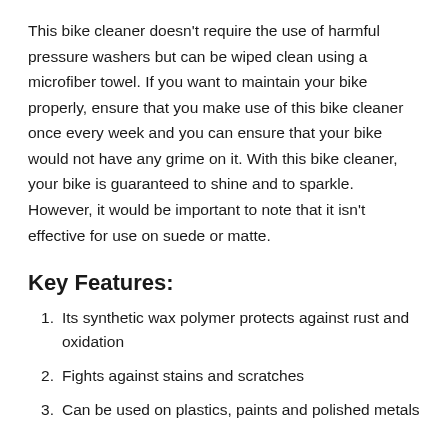This bike cleaner doesn't require the use of harmful pressure washers but can be wiped clean using a microfiber towel. If you want to maintain your bike properly, ensure that you make use of this bike cleaner once every week and you can ensure that your bike would not have any grime on it. With this bike cleaner, your bike is guaranteed to shine and to sparkle. However, it would be important to note that it isn't effective for use on suede or matte.
Key Features:
Its synthetic wax polymer protects against rust and oxidation
Fights against stains and scratches
Can be used on plastics, paints and polished metals